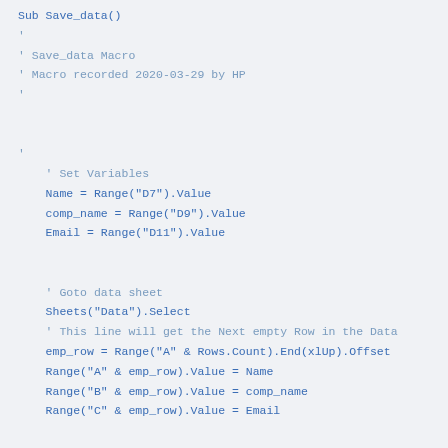Sub Save_data()
'
' Save_data Macro
' Macro recorded 2020-03-29 by HP
'


'
    ' Set Variables
    Name = Range("D7").Value
    comp_name = Range("D9").Value
    Email = Range("D11").Value


    ' Goto data sheet
    Sheets("Data").Select
    ' This line will get the Next empty Row in the Data
    emp_row = Range("A" & Rows.Count).End(xlUp).Offset
    Range("A" & emp_row).Value = Name
    Range("B" & emp_row).Value = comp_name
    Range("C" & emp_row).Value = Email


    'Go to Form Sheet.
    Sheets("Form").Select